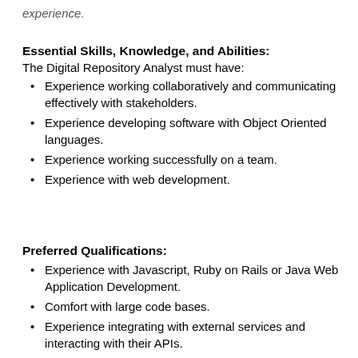experience.
Essential Skills, Knowledge, and Abilities:
The Digital Repository Analyst must have:
Experience working collaboratively and communicating effectively with stakeholders.
Experience developing software with Object Oriented languages.
Experience working successfully on a team.
Experience with web development.
Preferred Qualifications:
Experience with Javascript, Ruby on Rails or Java Web Application Development.
Comfort with large code bases.
Experience integrating with external services and interacting with their APIs.
Experience with version control (e.g. Git).